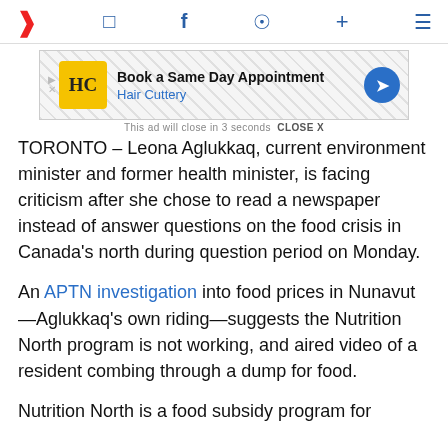Navigation bar with logo and icons
[Figure (other): Advertisement banner: Book a Same Day Appointment - Hair Cuttery, with HC logo and blue arrow icon. Ad close notice: This ad will close in 3 seconds CLOSE X]
TORONTO – Leona Aglukkaq, current environment minister and former health minister, is facing criticism after she chose to read a newspaper instead of answer questions on the food crisis in Canada's north during question period on Monday.
An APTN investigation into food prices in Nunavut—Aglukkaq's own riding—suggests the Nutrition North program is not working, and aired video of a resident combing through a dump for food.
Nutrition North is a food subsidy program for